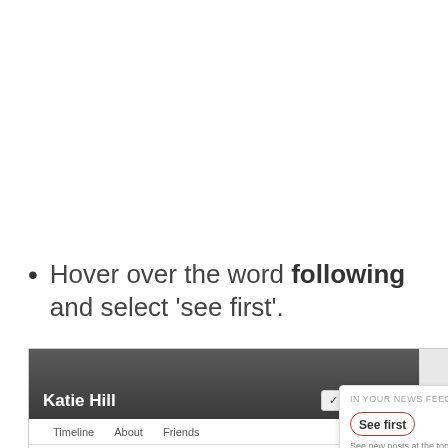Hover over the word following and select 'see first'.
[Figure (screenshot): Screenshot of a Facebook profile page for 'Katie Hill' showing the Following button dropdown menu with 'See first' option circled in red, and 'Default' option below it.]